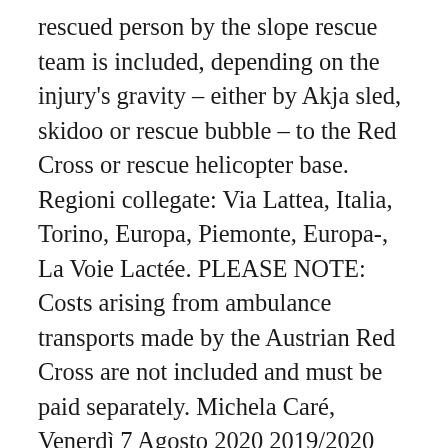rescued person by the slope rescue team is included, depending on the injury's gravity – either by Akja sled, skidoo or rescue bubble – to the Red Cross or rescue helicopter base. Regioni collegate: Via Lattea, Italia, Torino, Europa, Piemonte, Europa-, La Voie Lactée. PLEASE NOTE: Costs arising from ambulance transports made by the Austrian Red Cross are not included and must be paid separately. Michela Caré, Venerdì 7 Agosto 2020 2019/2020 SEASONAL SKIPASS We have sent a letter by email to all holders of the 2019-2020 Seasonal Skipass. It is also possible to obtain a Slope Rescue Card if you have already bought your skipass - but not after the accident has